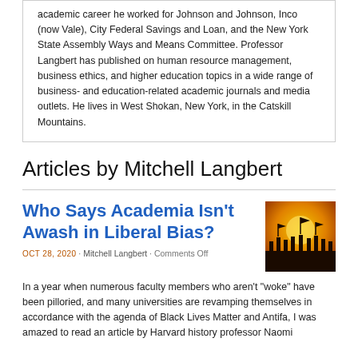academic career he worked for Johnson and Johnson, Inco (now Vale), City Federal Savings and Loan, and the New York State Assembly Ways and Means Committee. Professor Langbert has published on human resource management, business ethics, and higher education topics in a wide range of business- and education-related academic journals and media outlets. He lives in West Shokan, New York, in the Catskill Mountains.
Articles by Mitchell Langbert
Who Says Academia Isn’t Awash in Liberal Bias?
OCT 28, 2020 · Mitchell Langbert · Comments Off
In a year when numerous faculty members who aren’t “woke” have been pilloried, and many universities are revamping themselves in accordance with the agenda of Black Lives Matter and Antifa, I was amazed to read an article by Harvard history professor Naomi
[Figure (photo): Thumbnail image showing silhouettes of protestors holding flags against an orange/yellow background]